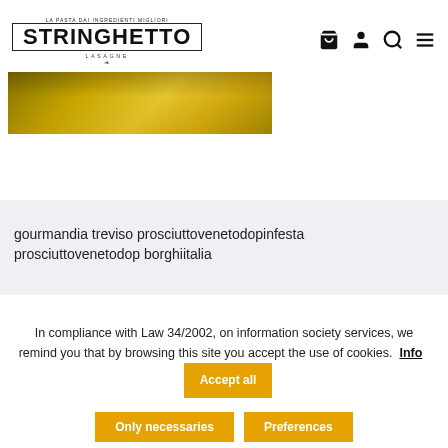[Figure (logo): Stringhetto brand logo with decorative border]
[Figure (photo): Close-up photo of a golden/yellow cured meat product]
gourmandia treviso prosciuttovenetodopinfesta prosciuttovenetodop borghiitalia
In compliance with Law 34/2002, on information society services, we remind you that by browsing this site you accept the use of cookies. Info Accept all Only necessaries Preferences